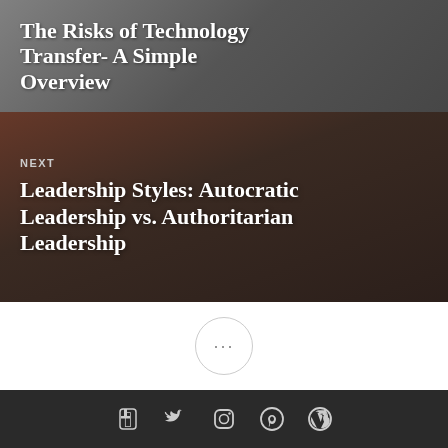The Risks of Technology Transfer- A Simple Overview
NEXT
Leadership Styles: Autocratic Leadership vs. Authoritarian Leadership
[Figure (other): Ellipsis button (three dots) in a circle]
Social media icons: Facebook, Twitter, Instagram, Pinterest, WordPress